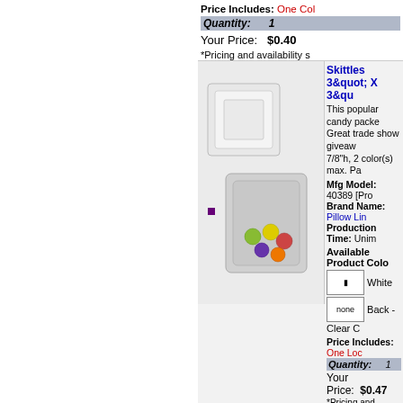Price Includes: One Co...
Quantity: 1
Your Price: $0.40
*Pricing and availability s...
Skittles 3&quot; X 3&qu...
This popular candy packe... Great trade show giveaw... 7/8"h, 2 color(s) max. Pa...
Mfg Model: 40389 [Prod...
Brand Name: Pillow Lin...
Production Time: Unim...
Available Product Colo...
White
Back - Clear C...
Price Includes: One Loc...
Quantity: 1
Your Price: $0.47
*Pricing and availability s...
[Figure (photo): Skittles candy packaging product photo - small pillow bags with colorful skittles candies]
Large Candy Cane
Large candy cane with a...
Mfg Model: CN-702 [Pro...
Brand Name: A La Carte...
Production Time: Unim...
Price Includes: One Col...
Quantity: 1
Your Price: $0.49
*Pricing and availability s...
[Figure (photo): Large red and white striped candy cane product photo]
Stick Gum - Paper Wra...
Spearmint flavored stick...
[Figure (photo): Stick gum product photo (partial)]